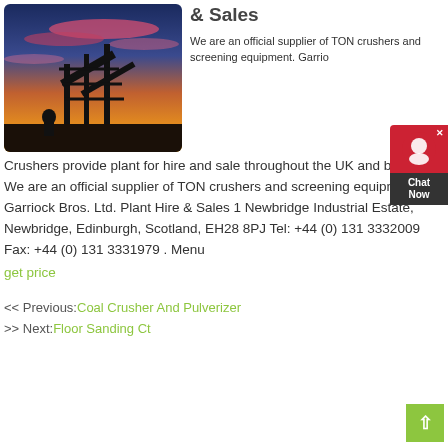[Figure (photo): Industrial plant/quarry machinery silhouetted against a dramatic sunset sky with orange and pink clouds]
& Sales
We are an official supplier of TON crushers and screening equipment. Garriock Crushers provide plant for hire and sale throughout the UK and beyond. We are an official supplier of TON crushers and screening equipment. Garriock Bros. Ltd. Plant Hire & Sales 1 Newbridge Industrial Estate, Newbridge, Edinburgh, Scotland, EH28 8PJ Tel: +44 (0) 131 3332009 Fax: +44 (0) 131 3331979 . Menu
get price
<< Previous: Coal Crusher And Pulverizer
>> Next: Floor Sanding Ct